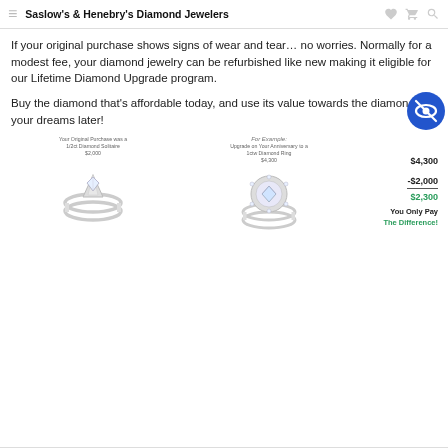Saslow's & Henebry's Diamond Jewelers
If your original purchase shows signs of wear and tear… no worries. Normally for a modest fee, your diamond jewelry can be refurbished like new making it eligible for our Lifetime Diamond Upgrade program.
Buy the diamond that's affordable today, and use its value towards the diamond of your dreams later!
[Figure (infographic): Infographic showing diamond upgrade example: original ring (Your Original Purchase was a 1/2ct Diamond Solitaire $2,000) upgrades to anniversary ring (Upgrade on Your Anniversary to a 1ctw Diamond Ring $4,300). Price math: $4,300 minus $2,000 equals $2,300, You Only Pay The Difference!]